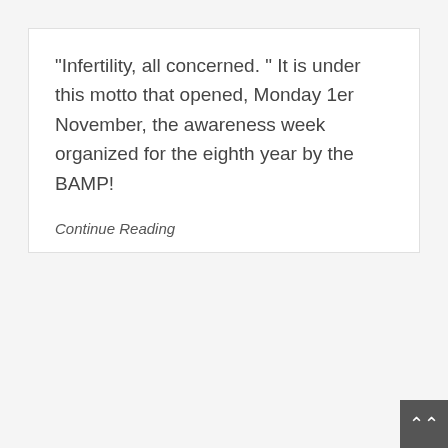“Infertility, all concerned. ” It is under this motto that opened, Monday 1er November, the awareness week organized for the eighth year by the BAMP!
Continue Reading